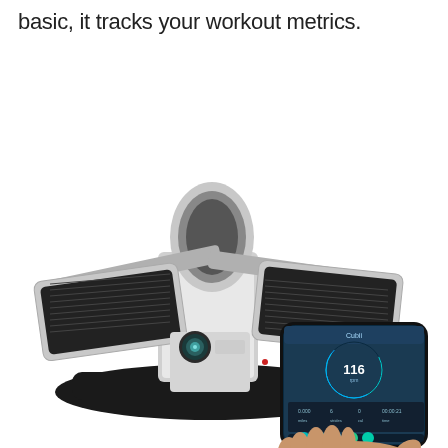basic, it tracks your workout metrics.
[Figure (photo): A compact under-desk elliptical pedal exerciser in silver and black with textured foot pedals and a resistance knob, shown alongside a smartphone displaying a fitness tracking app with circular gauge showing 116 and workout stats.]